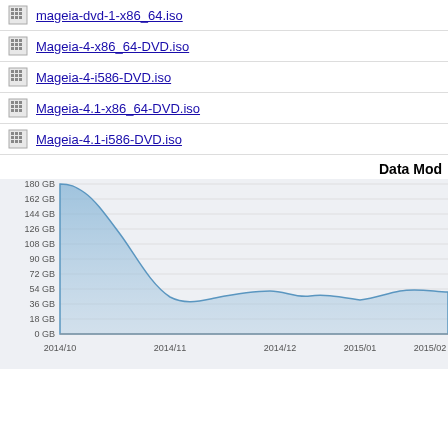mageia-dvd-1-x86_64.iso
Mageia-4-x86_64-DVD.iso
Mageia-4-i586-DVD.iso
Mageia-4.1-x86_64-DVD.iso
Mageia-4.1-i586-DVD.iso
Data Mod
[Figure (area-chart): Area chart showing data over time from 2014/10 to 2015/02, starting at ~180 GB then dropping sharply to ~45 GB around 2014/11, with slight undulations around 45-52 GB thereafter.]